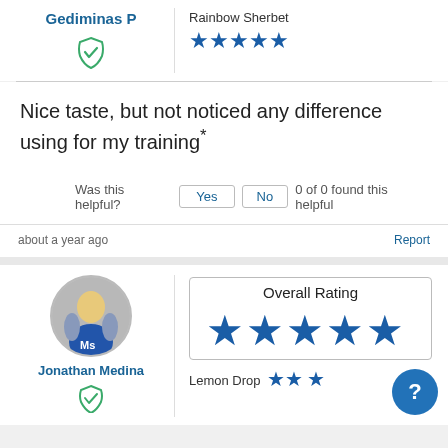Gediminas P
[Figure (illustration): Green shield with checkmark icon]
Rainbow Sherbet
[Figure (illustration): 5 blue stars rating]
Nice taste, but not noticed any difference using for my training*
Was this helpful? Yes No 0 of 0 found this helpful
about a year ago
Report
[Figure (photo): Avatar of Jonathan Medina in blue sports jersey]
Jonathan Medina
Overall Rating
[Figure (illustration): 5 blue stars overall rating]
Lemon Drop
[Figure (illustration): Partial star rating (approximately 2.5 stars)]